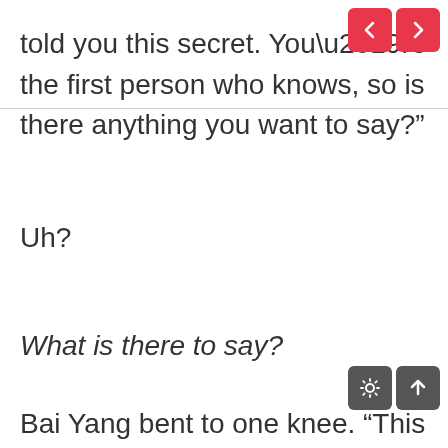told you this secret. You’re the first person who knows, so is there anything you want to say?”
Uh?
What is there to say?
Bai Yang bent to one knee. “This subordinate